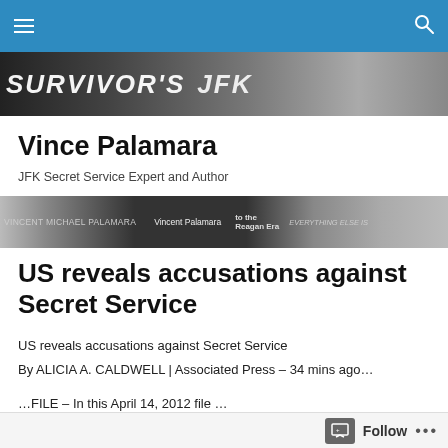Navigation bar with hamburger menu and search icon
[Figure (photo): Dark header banner with text 'SURVIVOR'S JFK' overlaid on dark background images]
Vince Palamara
JFK Secret Service Expert and Author
[Figure (photo): Strip of book covers related to Vincent Michael Palamara including titles referencing Kennedy, Reagan Era, and other works]
US reveals accusations against Secret Service
US reveals accusations against Secret Service
By ALICIA A. CALDWELL | Associated Press – 34 mins ago…
…FILE – In this April 14, 2012 file …
WASHINGTON (AP) – The U.S. government...
Follow • •••